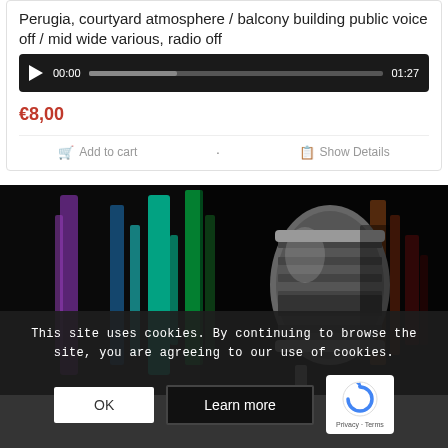Perugia, courtyard atmosphere / balcony building public voice off / mid wide various, radio off
00:00  01:27
€8,00
Add to cart   Show Details
[Figure (photo): A vintage silver microphone against a dark background with colorful vertical light streaks (purple, green, teal, orange, red)]
This site uses cookies. By continuing to browse the site, you are agreeing to our use of cookies.
OK   Learn more